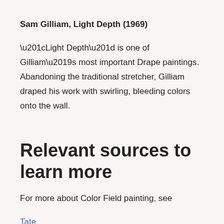Sam Gilliam, Light Depth (1969)
“Light Depth” is one of Gilliam’s most important Drape paintings. Abandoning the traditional stretcher, Gilliam draped his work with swirling, bleeding colors onto the wall.
Relevant sources to learn more
For more about Color Field painting, see
Tate